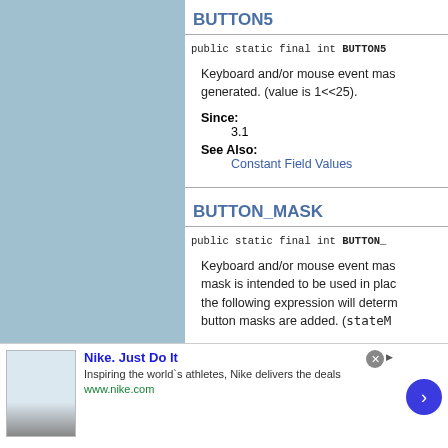BUTTON5
public static final int BUTTON5
Keyboard and/or mouse event mas generated. (value is 1<<25).
Since:
3.1
See Also:
Constant Field Values
BUTTON_MASK
public static final int BUTTON_
Keyboard and/or mouse event mas mask is intended to be used in plac the following expression will determ button masks are added. (stateM
[Figure (screenshot): Advertisement banner for Nike. Just Do It. Shows Nike ad with text 'Inspiring the world's athletes, Nike delivers the deals' and URL www.nike.com, with a circular arrow button and close button.]